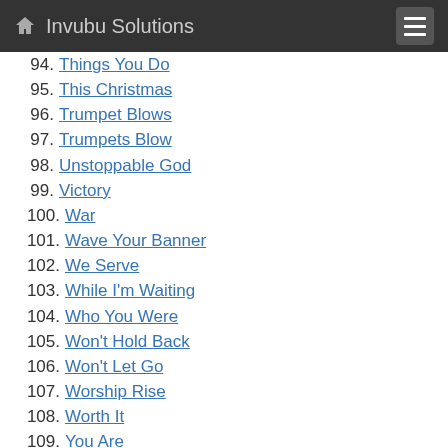Invubu Solutions
94. Things You Do
95. This Christmas
96. Trumpet Blows
97. Trumpets Blow
98. Unstoppable God
99. Victory
100. War
101. Wave Your Banner
102. We Serve
103. While I'm Waiting
104. Who You Were
105. Won't Hold Back
106. Won't Let Go
107. Worship Rise
108. Worth It
109. You Are
110. You Are The One
111. You Don't Like What You See